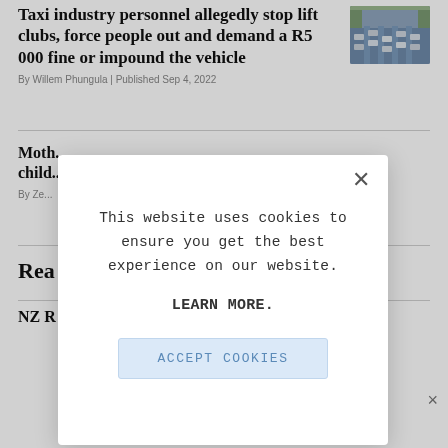Taxi industry personnel allegedly stop lift clubs, force people out and demand a R5 000 fine or impound the vehicle
[Figure (photo): Aerial or elevated photo of heavy road traffic with many vehicles]
By Willem Phungula | Published Sep 4, 2022
Moth... child...
By Ze...
Rea...
NZ R...
This website uses cookies to ensure you get the best experience on our website.

LEARN MORE.

ACCEPT COOKIES